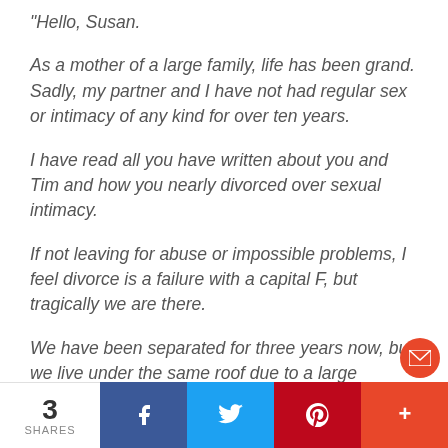“Hello, Susan.
As a mother of a large family, life has been grand. Sadly, my partner and I have not had regular sex or intimacy of any kind for over ten years.
I have read all you have written about you and Tim and how you nearly divorced over sexual intimacy.
If not leaving for abuse or impossible problems, I feel divorce is a failure with a capital F, but tragically we are there.
We have been separated for three years now, but we live under the same roof due to a large insurance claim due to flooding. (Toll
3 SHARES  [Facebook] [Twitter] [Pinterest] [+]